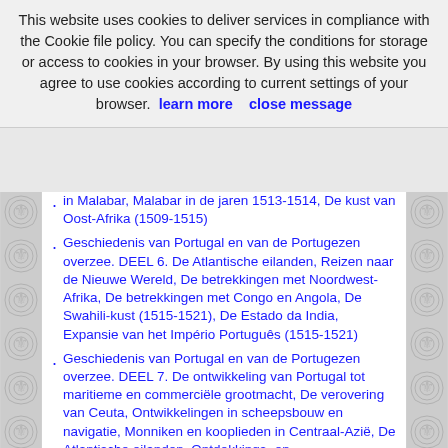This website uses cookies to deliver services in compliance with the Cookie file policy. You can specify the conditions for storage or access to cookies in your browser. By using this website you agree to use cookies according to current settings of your browser.  learn more     close message
in Malabar, Malabar in de jaren 1513-1514, De kust van Oost-Afrika (1509-1515)
Geschiedenis van Portugal en van de Portugezen overzee. DEEL 6. De Atlantische eilanden, Reizen naar de Nieuwe Wereld, De betrekkingen met Noordwest-Afrika, De betrekkingen met Congo en Angola, De Swahili-kust (1515-1521), De Estado da India, Expansie van het Império Português (1515-1521)
Geschiedenis van Portugal en van de Portugezen overzee. DEEL 7. De ontwikkeling van Portugal tot maritieme en commerciële grootmacht, De verovering van Ceuta, Ontwikkelingen in scheepsbouw en navigatie, Monniken en kooplieden in Centraal-Azië, De Atlantische eilanden, Ontdekkings- en